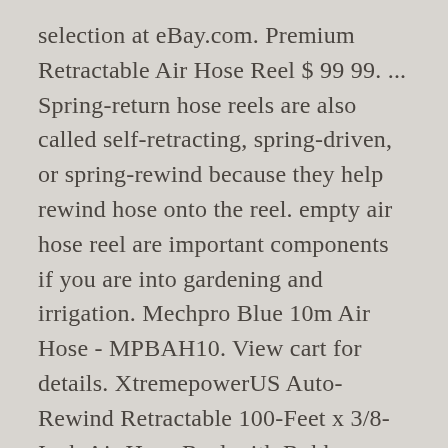selection at eBay.com. Premium Retractable Air Hose Reel $ 99 99. ... Spring-return hose reels are also called self-retracting, spring-driven, or spring-rewind because they help rewind hose onto the reel. empty air hose reel are important components if you are into gardening and irrigation. Mechpro Blue 10m Air Hose - MPBAH10. View cart for details. XtremepowerUS Auto-Rewind Retractable 100-Feet x 3/8-Inch Air Hose Reel with Rubber Hose Spring Driven Auto Rewind 3/8 in x 100 ft, 300PSI. For more details, click on the product specifications sheet above. x 75 ft, Heavy Duty, Lightweight, Hybrid, ZillaGreen - L8306FZ, GOODYEAR Air-Hose-Reel